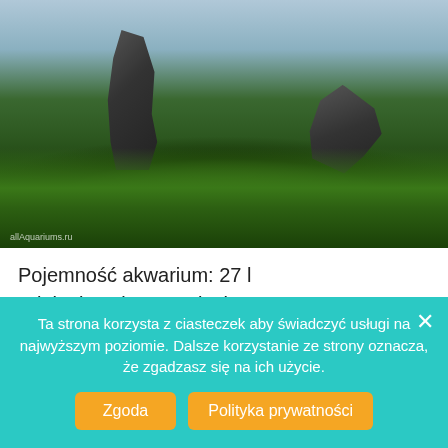[Figure (photo): Aquarium aquascape with dark rocks and green grass-like plants (Eleocharis/hair grass), showing a lush planted tank with rocks arranged among dense green aquatic plants. Watermark: allAquariums.ru]
Pojemność akwarium: 27 l
Wiek akwarium: 5 miesięcy
Zwierzęta: Otocinclus affinis, Danio margaritatus,
Neocaridina Heteropoda var. Black
Ta strona korzysta z ciasteczek aby świadczyć usługi na najwyższym poziomie. Dalsze korzystanie ze strony oznacza, że zgadzasz się na ich użycie.